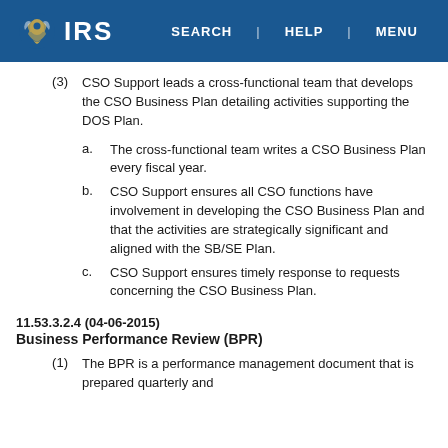IRS | SEARCH | HELP | MENU
(3) CSO Support leads a cross-functional team that develops the CSO Business Plan detailing activities supporting the DOS Plan.
a. The cross-functional team writes a CSO Business Plan every fiscal year.
b. CSO Support ensures all CSO functions have involvement in developing the CSO Business Plan and that the activities are strategically significant and aligned with the SB/SE Plan.
c. CSO Support ensures timely response to requests concerning the CSO Business Plan.
11.53.3.2.4 (04-06-2015)
Business Performance Review (BPR)
(1) The BPR is a performance management document that is prepared quarterly and